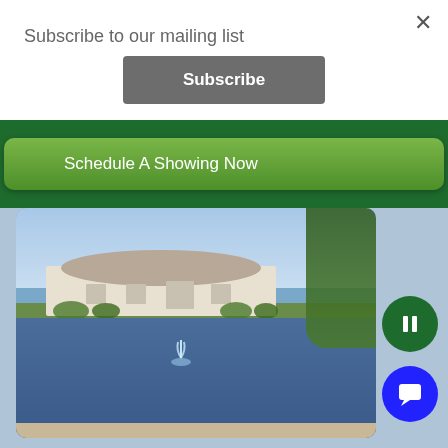Subscribe to our mailing list
×
Subscribe
Schedule A Showing Now
[Figure (photo): Outdoor photo of a residential community building with a pond/lake in the foreground featuring a fountain, green trees on the right, and a clear sky in the background.]
[Figure (other): Green circular pause/slideshow button]
[Figure (other): Blue circular chat button]